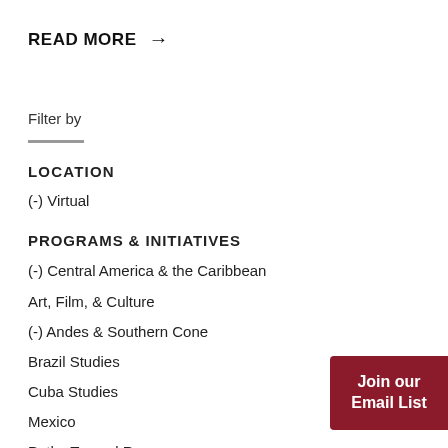READ MORE →
Filter by
LOCATION
(-) Virtual
PROGRAMS & INITIATIVES
(-) Central America & the Caribbean
Art, Film, & Culture
(-) Andes & Southern Cone
Brazil Studies
Cuba Studies
Mexico
Paths Toward Recovery
Join our Email List